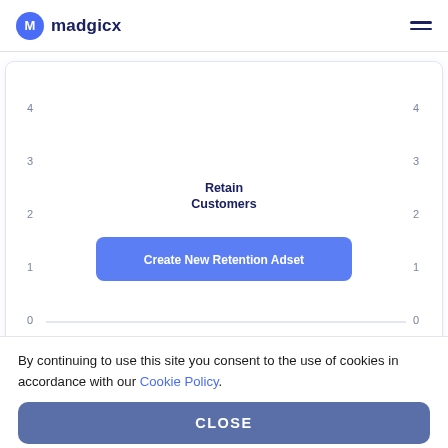[Figure (screenshot): Madgicx logo and navigation header with hamburger menu icon]
[Figure (other): Chart area showing a retention line chart with y-axis 0-4, x-axis dates Feb 18th to Feb 24th, with 'Retain Customers' label and a 'Create New Retention Adset' button overlay. X-axis label is 'Retention'.]
By continuing to use this site you consent to the use of cookies in accordance with our Cookie Policy.
CLOSE